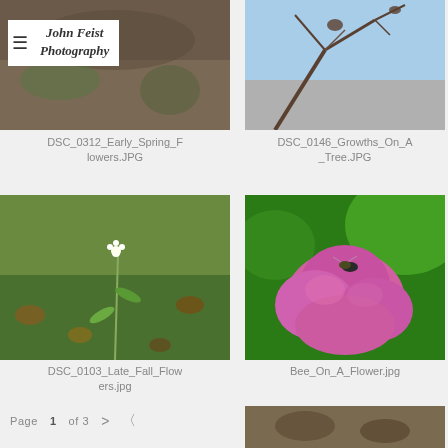John Feist Photography
[Figure (photo): Partial photo of early spring flowers, natural outdoor setting]
[Figure (photo): Photo of growths on a tree, branches visible against blue sky]
DSC_0312_Early_Spring_Flowers.JPG
DSC_0146_Growths_On_A_Tree.JPG
[Figure (photo): Photo of a small white wildflower on a stem against green mossy ground with autumn leaves]
[Figure (photo): Photo of a bee on a pink rose flower with green leaves in background]
DSC_0103_Late_Fall_Flowers.jpg
Bee_On_A_Flower.jpg
Page 1 of 3
[Figure (photo): Partial photo visible at bottom right edge of page]